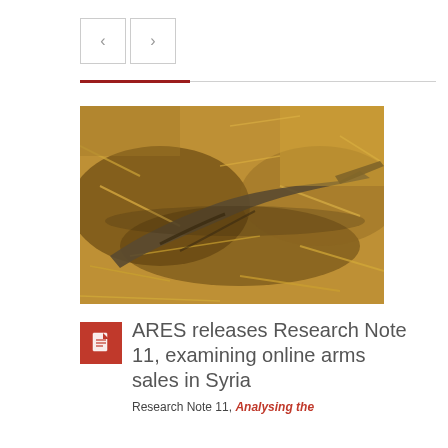[Figure (other): Navigation buttons with left and right chevron arrows, bordered square buttons]
[Figure (photo): Close-up photograph of a rifle or weapon lying in dry straw and debris on the ground]
ARES releases Research Note 11, examining online arms sales in Syria
Research Note 11, Analysing the Online Arms Trade in Syria...